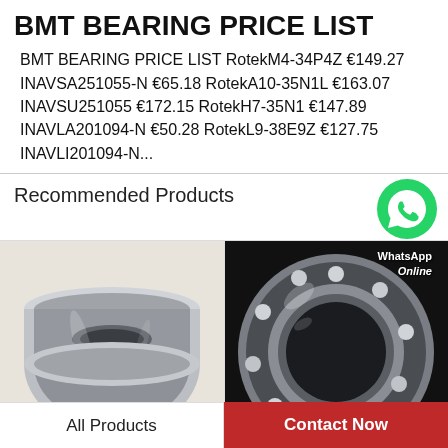BMT BEARING PRICE LIST
BMT BEARING PRICE LIST RotekM4-34P4Z €149.27 INAVSA251055-N €65.18 RotekA10-35N1L €163.07 INAVSU251055 €172.15 RotekH7-35N1 €147.89 INAVLA201094-N €50.28 RotekL9-38E9Z €127.75 INAVLI201094-N...
Recommended Products
[Figure (photo): A silver metallic bearing component (wheel hub bearing or similar) on a beige background, photographed from the side showing its cylindrical shape.]
[Figure (photo): A silver ball bearing ring displayed on a black background, with visible ball bearings and inner/outer race. WhatsApp Online badge overlay in top area.]
All Products
Contact Now